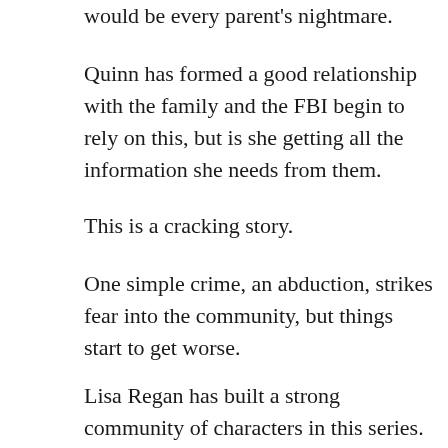would be every parent's nightmare.
Quinn has formed a good relationship with the family and the FBI begin to rely on this, but is she getting all the information she needs from them.
This is a cracking story.
One simple crime, an abduction, strikes fear into the community, but things start to get worse.
Lisa Regan has built a strong community of characters in this series. She uses their emotions and feelings to permutate through the story and build up the suspense.